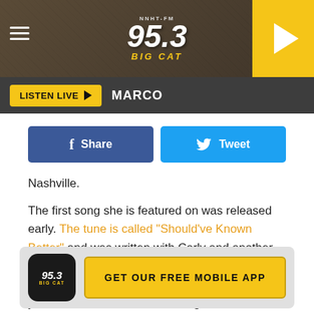[Figure (screenshot): 95.3 Big Cat radio station website header banner with logo and play button]
LISTEN LIVE ▶  MARCO
[Figure (infographic): Facebook Share and Twitter Tweet social sharing buttons side by side]
Nashville.
The first song she is featured on was released early. The tune is called "Should've Known Better" and was written with Carly and another songwriter named Jordan Reynolds. The song is about going through life and reflecting on things you should have known all along.
[Figure (infographic): GET OUR FREE MOBILE APP promo banner with 95.3 Big Cat app icon]